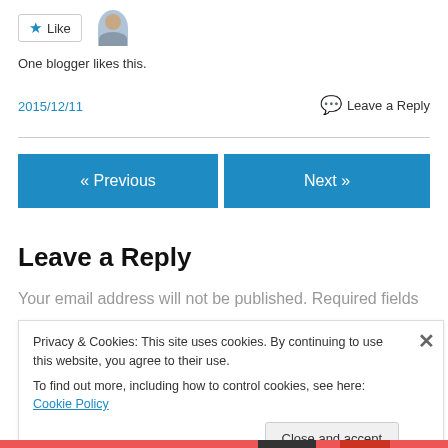[Figure (other): Like button with star icon and user avatar thumbnail]
One blogger likes this.
2015/12/11
Leave a Reply
« Previous
Next »
Leave a Reply
Your email address will not be published. Required fields
Privacy & Cookies: This site uses cookies. By continuing to use this website, you agree to their use.
To find out more, including how to control cookies, see here: Cookie Policy
Close and accept